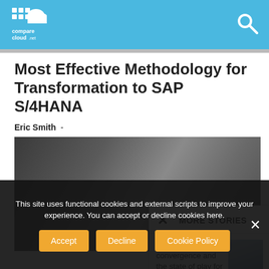comparecloud.net
Most Effective Methodology for Transformation to SAP S/4HANA
Eric Smith  -
[Figure (photo): Grayscale photo of a laptop keyboard and camera/bag on a desk]
× MORE STORIES
Cloud convergence and the state of play for
[Figure (photo): Thumbnail of a building with glass facade]
This site uses functional cookies and external scripts to improve your experience. You can accept or decline cookies here.